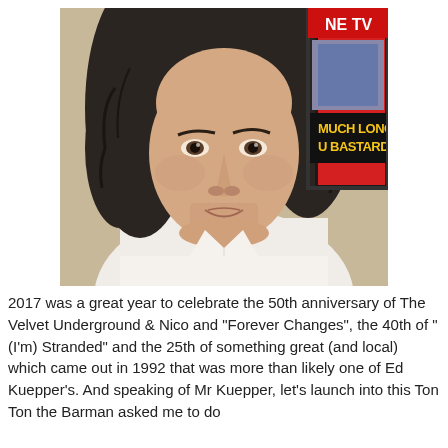[Figure (photo): A man with long dishevelled dark hair wearing a white shirt, looking directly at the camera with a neutral expression. In the background on the right is a framed poster with text partially visible reading 'MUCH LONGER' and 'U BASTARD'.]
2017 was a great year to celebrate the 50th anniversary of The Velvet Underground & Nico and "Forever Changes", the 40th of "(I'm) Stranded" and the 25th of something great (and local) which came out in 1992 that was more than likely one of Ed Kuepper's. And speaking of Mr Kuepper, let's launch into this Ton Ton the Barman asked me to do